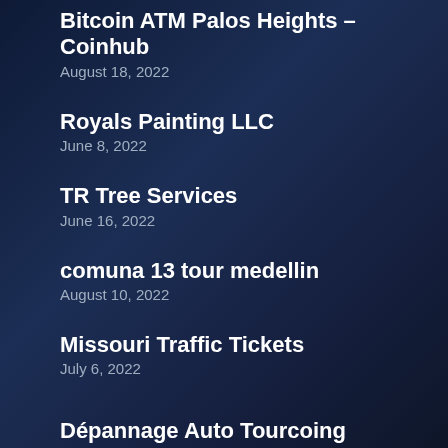Bitcoin ATM Palos Heights – Coinhub
August 18, 2022
Royals Painting LLC
June 8, 2022
TR Tree Services
June 16, 2022
comuna 13 tour medellin
August 10, 2022
Missouri Traffic Tickets
July 6, 2022
Dépannage Auto Tourcoing